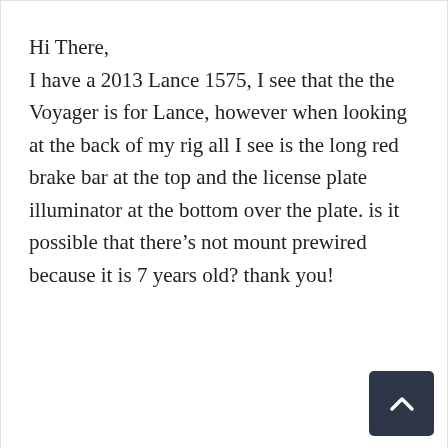Hi There,
I have a 2013 Lance 1575, I see that the the Voyager is for Lance, however when looking at the back of my rig all I see is the long red brake bar at the top and the license plate illuminator at the bottom over the plate. is it possible that there’s not mount prewired because it is 7 years old? thank you!
Reply
Jenni